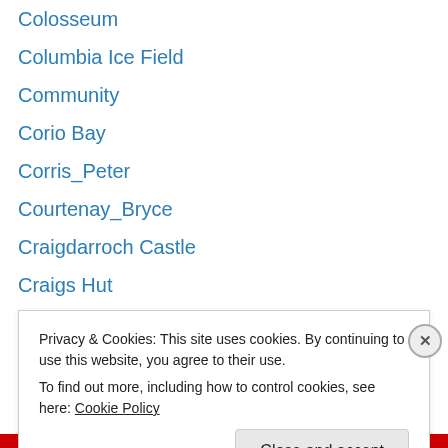Colosseum
Columbia Ice Field
Community
Corio Bay
Corris_Peter
Courtenay_Bryce
Craigdarroch Castle
Craigs Hut
Croft_Elle
Cruising
Cunningham Pier
Dahl_Julia
Daily Prompt
Daintree
Privacy & Cookies: This site uses cookies. By continuing to use this website, you agree to their use.
To find out more, including how to control cookies, see here: Cookie Policy
Close and accept